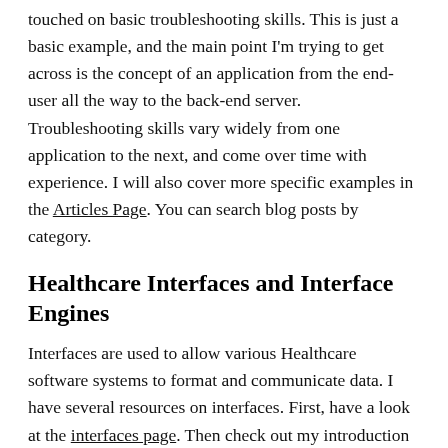touched on basic troubleshooting skills. This is just a basic example, and the main point I'm trying to get across is the concept of an application from the end-user all the way to the back-end server. Troubleshooting skills vary widely from one application to the next, and come over time with experience. I will also cover more specific examples in the Articles Page. You can search blog posts by category.
Healthcare Interfaces and Interface Engines
Interfaces are used to allow various Healthcare software systems to format and communicate data. I have several resources on interfaces. First, have a look at the interfaces page. Then check out my introduction to HL7. It's pretty old but still relevant to the current implementation of the standard.
[Figure (photo): Dark background image strip at the bottom of the page, partially visible, showing what appears to be a person or figure.]